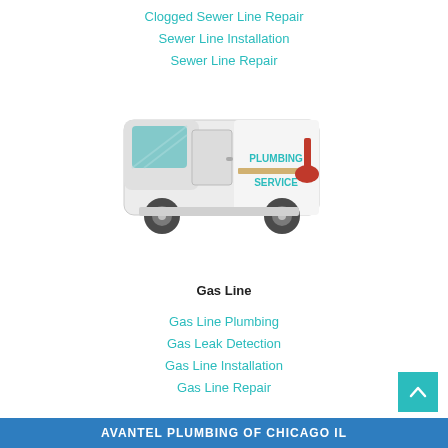Clogged Sewer Line Repair
Sewer Line Installation
Sewer Line Repair
[Figure (illustration): A plumbing service van illustration in white, teal, and gray with a plunger graphic and the text PLUMBING SERVICE on the side.]
Gas Line
Gas Line Plumbing
Gas Leak Detection
Gas Line Installation
Gas Line Repair
AVANTEL PLUMBING OF CHICAGO IL